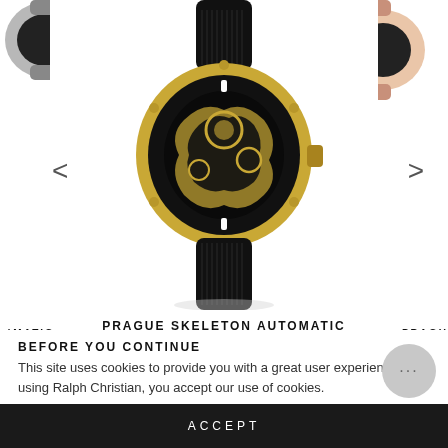[Figure (photo): Center: gold skeleton automatic watch with black rubber strap. Left edge: partial view of a silver watch. Right edge: partial view of a rose-gold/pink watch.]
PRAGUE SKELETON AUTOMATIC DELUXE - GOLD
★★★★★
FROM 1210 REVIEWS
$159.00
BEFORE YOU CONTINUE
This site uses cookies to provide you with a great user experience. By using Ralph Christian, you accept our use of cookies.
ACCEPT